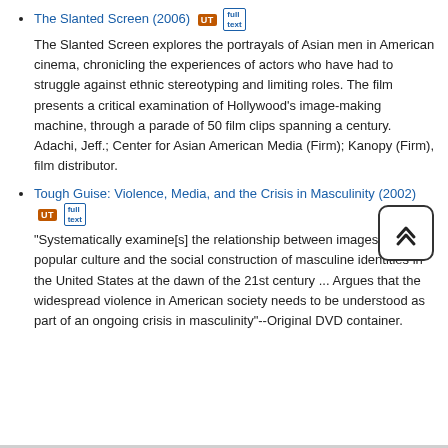The Slanted Screen (2006) [UT icon] [full text icon]
The Slanted Screen explores the portrayals of Asian men in American cinema, chronicling the experiences of actors who have had to struggle against ethnic stereotyping and limiting roles. The film presents a critical examination of Hollywood's image-making machine, through a parade of 50 film clips spanning a century. Adachi, Jeff.; Center for Asian American Media (Firm); Kanopy (Firm), film distributor.
Tough Guise: Violence, Media, and the Crisis in Masculinity (2002) [UT icon] [full text icon]
"Systematically examine[s] the relationship between images of popular culture and the social construction of masculine identities in the United States at the dawn of the 21st century ... Argues that the widespread violence in American society needs to be understood as part of an ongoing crisis in masculinity"--Original DVD container.